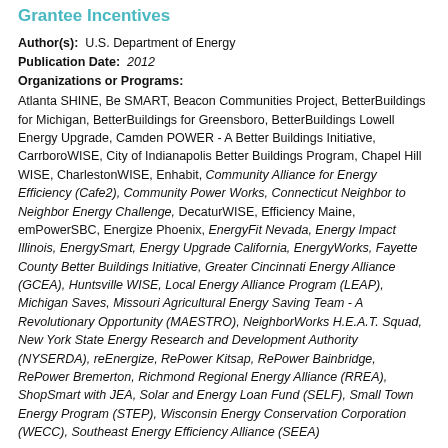Grantee Incentives
Author(s): U.S. Department of Energy
Publication Date: 2012
Organizations or Programs:
Atlanta SHINE, Be SMART, Beacon Communities Project, BetterBuildings for Michigan, BetterBuildings for Greensboro, BetterBuildings Lowell Energy Upgrade, Camden POWER - A Better Buildings Initiative, CarrboroWISE, City of Indianapolis Better Buildings Program, Chapel Hill WISE, CharlestonWISE, Enhabit, Community Alliance for Energy Efficiency (Cafe2), Community Power Works, Connecticut Neighbor to Neighbor Energy Challenge, DecaturWISE, Efficiency Maine, emPowerSBC, Energize Phoenix, EnergyFit Nevada, Energy Impact Illinois, EnergySmart, Energy Upgrade California, EnergyWorks, Fayette County Better Buildings Initiative, Greater Cincinnati Energy Alliance (GCEA), Huntsville WISE, Local Energy Alliance Program (LEAP), Michigan Saves, Missouri Agricultural Energy Saving Team - A Revolutionary Opportunity (MAESTRO), NeighborWorks H.E.A.T. Squad, New York State Energy Research and Development Authority (NYSERDA), reEnergize, RePower Kitsap, RePower Bainbridge, RePower Bremerton, Richmond Regional Energy Alliance (RREA), ShopSmart with JEA, Solar and Energy Loan Fund (SELF), Small Town Energy Program (STEP), Wisconsin Energy Conservation Corporation (WECC), Southeast Energy Efficiency Alliance (SEEA)
This publication summarizes some of the incentives